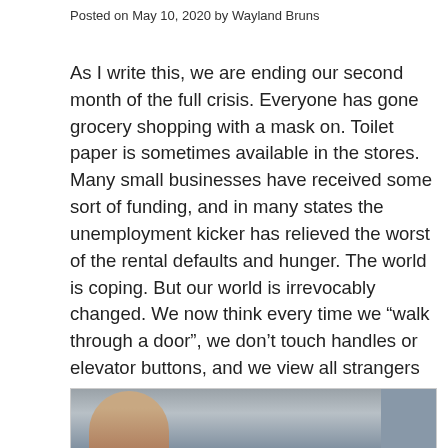Posted on May 10, 2020 by Wayland Bruns
As I write this, we are ending our second month of the full crisis. Everyone has gone grocery shopping with a mask on. Toilet paper is sometimes available in the stores. Many small businesses have received some sort of funding, and in many states the unemployment kicker has relieved the worst of the rental defaults and hunger. The world is coping. But our world is irrevocably changed. We now think every time we “walk through a door”, we don’t touch handles or elevator buttons, and we view all strangers with cautious distance.
[Figure (photo): A person looking downward, photographed from the side, with a blurred urban background visible through glass.]